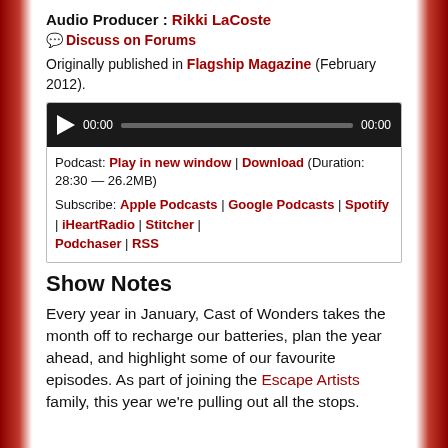Audio Producer: Rikki LaCoste
Discuss on Forums
Originally published in Flagship Magazine (February 2012).
[Figure (screenshot): Audio player widget with play button, time display 00:00, progress bar, and end time 00:00. Below: Podcast: Play in new window | Download (Duration: 28:30 — 26.2MB). Subscribe: Apple Podcasts | Google Podcasts | Spotify | iHeartRadio | Stitcher | Podchaser | RSS]
Show Notes
Every year in January, Cast of Wonders takes the month off to recharge our batteries, plan the year ahead, and highlight some of our favourite episodes. As part of joining the Escape Artists family, this year we're pulling out all the stops.